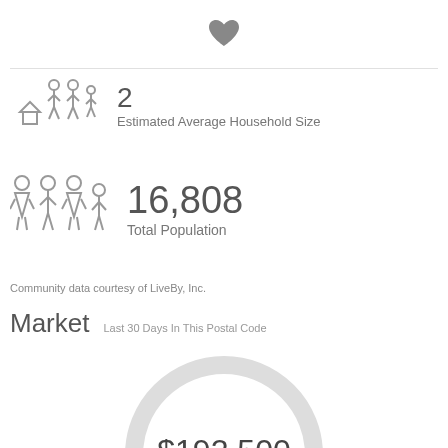[Figure (illustration): Heart icon (favorite/bookmark)]
[Figure (illustration): House with people icon representing household size]
2
Estimated Average Household Size
[Figure (illustration): Group of people icon representing population]
16,808
Total Population
Community data courtesy of LiveBy, Inc.
Market
Last 30 Days In This Postal Code
[Figure (donut-chart): Median Sales Price]
$192,500
Median Sales Price